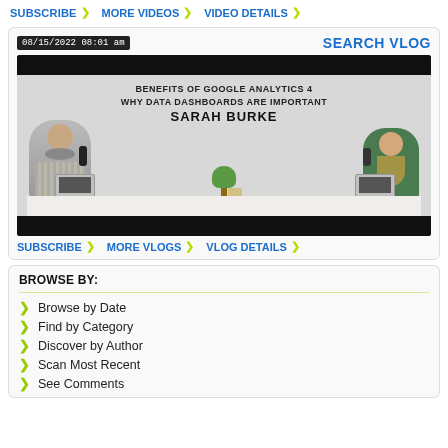SUBSCRIBE > MORE VIDEOS > VIDEO DETAILS >
SEARCH VLOG
08/15/2022 08:01 am
[Figure (screenshot): Video thumbnail showing two people seated at a white table with microphones and laptops. Text overlay reads: BENEFITS OF GOOGLE ANALYTICS 4 WHY DATA DASHBOARDS ARE IMPORTANT SARAH BURKE]
SUBSCRIBE > MORE VLOGS > VLOG DETAILS >
BROWSE BY:
Browse by Date
Find by Category
Discover by Author
Scan Most Recent
See Comments